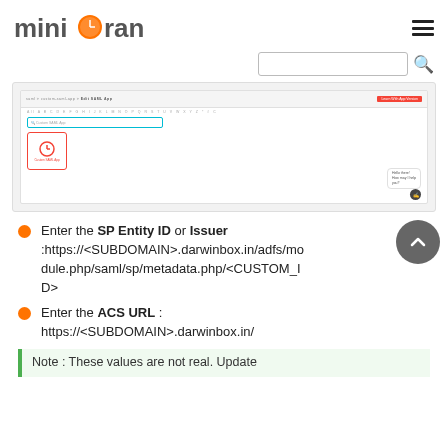[Figure (screenshot): miniOrange website header with logo, hamburger menu, search bar, and a screenshot of the miniOrange app portal showing a custom SAML app tile and a chat bubble.]
Enter the SP Entity ID or Issuer :https://<SUBDOMAIN>.darwinbox.in/adfs/module.php/saml/sp/metadata.php/<CUSTOM_ID>
Enter the ACS URL : https://<SUBDOMAIN>.darwinbox.in/
Note : These values are not real. Update